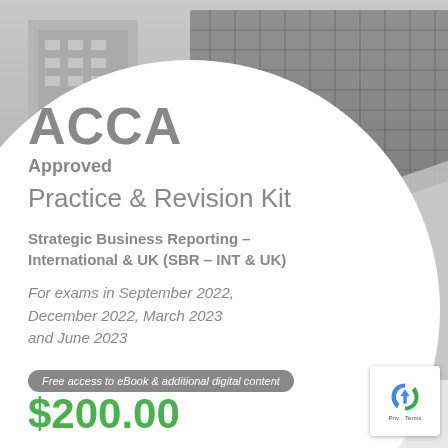[Figure (photo): Architectural building with glass grid facade in grayscale, used as background image]
ACCA
Approved
Practice & Revision Kit
Strategic Business Reporting – International & UK (SBR – INT & UK)
For exams in September 2022, December 2022, March 2023 and June 2023
Free access to eBook & additional digital content
$200.00